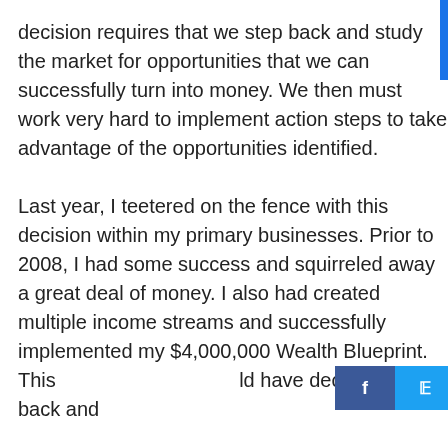decision requires that we step back and study the market for opportunities that we can successfully turn into money. We then must work very hard to implement action steps to take advantage of the opportunities identified.

Last year, I teetered on the fence with this decision within my primary businesses. Prior to 2008, I had some success and squirreled away a great deal of money. I also had created multiple income streams and successfully implemented my $4,000,000 Wealth Blueprint. This [social share bar] ld have decided to sit back and
[Figure (other): Social media share buttons bar showing Facebook (f), Twitter (bird), LinkedIn (in), and Pinterest (P) icons in their respective brand colors (dark blue, light blue, blue, red)]